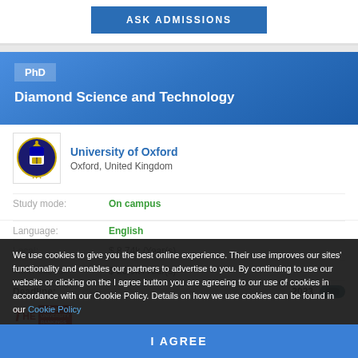[Figure (other): ASK ADMISSIONS button in blue]
PhD
Diamond Science and Technology
[Figure (logo): University of Oxford crest/logo]
University of Oxford
Oxford, United Kingdom
Study mode: On campus
Language: English
Local: $8.74k/Year(s)
International: $26.9k/Year(s)
Deadline: 2023
We use cookies to give you the best online experience. Their use improves our sites' functionality and enables our partners to advertise to you. By continuing to use our website or clicking on the I agree button you are agreeing to our use of cookies in accordance with our Cookie Policy. Details on how we use cookies can be found in our Cookie Policy
[Figure (other): I AGREE button in blue]
[Figure (logo): THE World University Rankings logo]